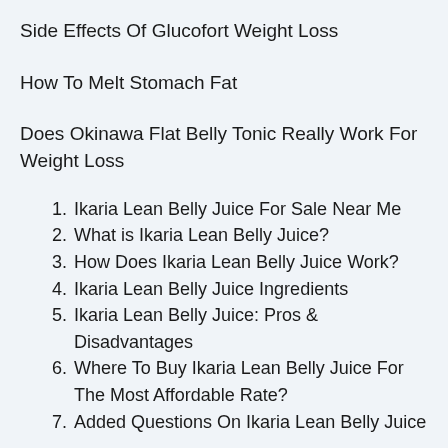Side Effects Of Glucofort Weight Loss
How To Melt Stomach Fat
Does Okinawa Flat Belly Tonic Really Work For Weight Loss
1. Ikaria Lean Belly Juice For Sale Near Me
2. What is Ikaria Lean Belly Juice?
3. How Does Ikaria Lean Belly Juice Work?
4. Ikaria Lean Belly Juice Ingredients
5. Ikaria Lean Belly Juice: Pros & Disadvantages
6. Where To Buy Ikaria Lean Belly Juice For The Most Affordable Rate?
7. Added Questions On Ikaria Lean Belly Juice